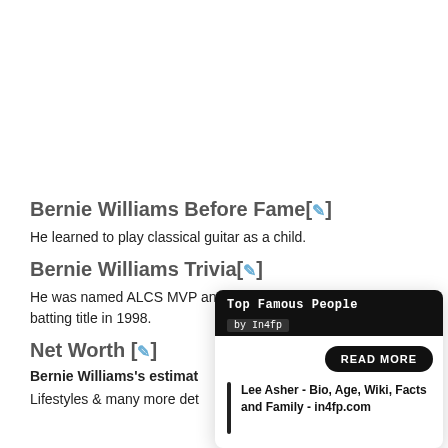Bernie Williams Before Fame[✎]
He learned to play classical guitar as a child.
Bernie Williams Trivia[✎]
He was named ALCS MVP and won the AL batting title in 1998.
Net Worth [✎]
Bernie Williams's estimated net worth...
Lifestyles & many more details...
[Figure (screenshot): Popup overlay card showing 'Top Famous People by In4fp' with a READ MORE button and a link to 'Lee Asher - Bio, Age, Wiki, Facts and Family - in4fp.com']